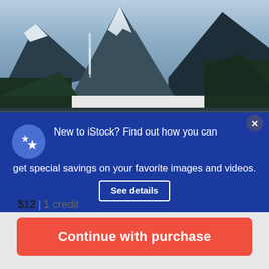[Figure (photo): Scenic fjord landscape with snow-capped mountains, waterfall, forested slopes, and calm reflective water in the foreground]
New to iStock? Find out how you can get special savings on your favorite images and videos. See details
$12 | 1 credit
Continue with purchase